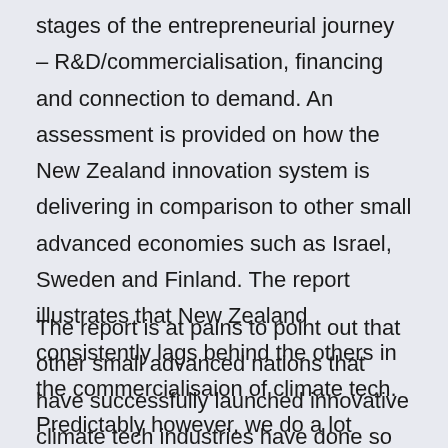stages of the entrepreneurial journey – R&D/commercialisation, financing and connection to demand. An assessment is provided on how the New Zealand innovation system is delivering in comparison to other small advanced economies such as Israel, Sweden and Finland. The report illustrates that New Zealand consistently lags behind the others in the commercialisaion of climate tech. Predictably however, we do a lot better when a similar analysis is done on agriculture and food sector innovation, illustrating that there is certainly ability to improve.
The report is at pains to point out that other small advanced nations that have successfully launched innovative climate tech industries have done so